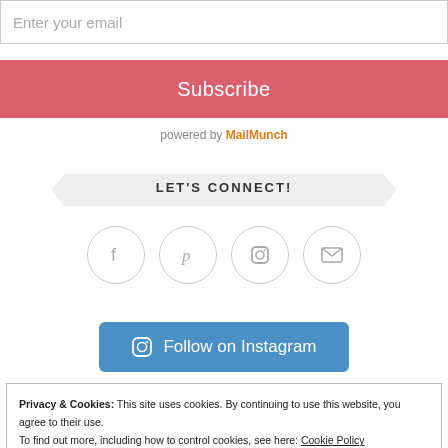Enter your email
Subscribe
powered by MailMunch
LET'S CONNECT!
[Figure (infographic): Four social media icon circles: Facebook, Pinterest, Instagram, Email]
Follow on Instagram
Privacy & Cookies: This site uses cookies. By continuing to use this website, you agree to their use.
To find out more, including how to control cookies, see here: Cookie Policy
Close and accept